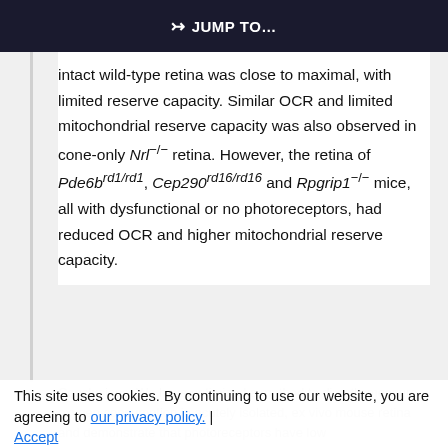JUMP TO...
intact wild-type retina was close to maximal, with limited reserve capacity. Similar OCR and limited mitochondrial reserve capacity was also observed in cone-only Nrl−/− retina. However, the retina of Pde6b rd1/rd1, Cep290 rd16/rd16 and Rpgrip1−/− mice, all with dysfunctional or no photoreceptors, had reduced OCR and higher mitochondrial reserve capacity.
Conclusions: We have optimized a method to directly measure oxygen consumption in acutely isolated, ex vivo mouse retina and demonstrate that photoreceptors have low
This site uses cookies. By continuing to use our website, you are agreeing to our privacy policy. Accept